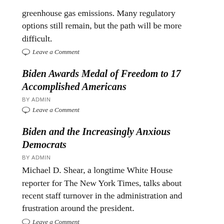greenhouse gas emissions. Many regulatory options still remain, but the path will be more difficult.
Leave a Comment
Biden Awards Medal of Freedom to 17 Accomplished Americans
BY ADMIN
Leave a Comment
Biden and the Increasingly Anxious Democrats
BY ADMIN
Michael D. Shear, a longtime White House reporter for The New York Times, talks about recent staff turnover in the administration and frustration around the president.
Leave a Comment
I.R.S. Asks Inspector General to Review Audits of Comey and McCabe